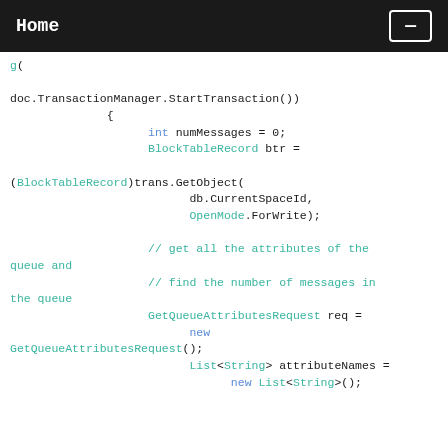Home
Code snippet showing C# transaction and queue attributes code block including doc.TransactionManager.StartTransaction(), BlockTableRecord, GetQueueAttributesRequest, List<String> usage.